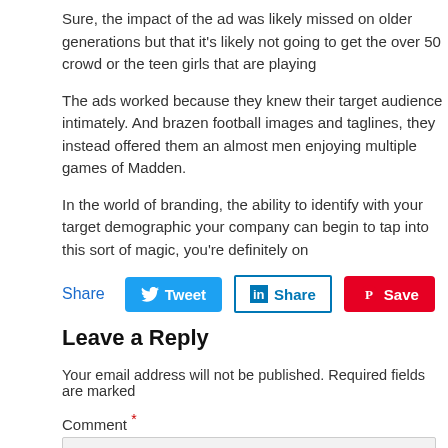Sure, the impact of the ad was likely missed on older generations but that it's likely not going to get the over 50 crowd or the teen girls that are playing
The ads worked because they knew their target audience intimately. And brazen football images and taglines, they instead offered them an almost men enjoying multiple games of Madden.
In the world of branding, the ability to identify with your target demographic your company can begin to tap into this sort of magic, you're definitely on
Share  Tweet  Share  Save
Leave a Reply
Your email address will not be published. Required fields are marked
Comment *